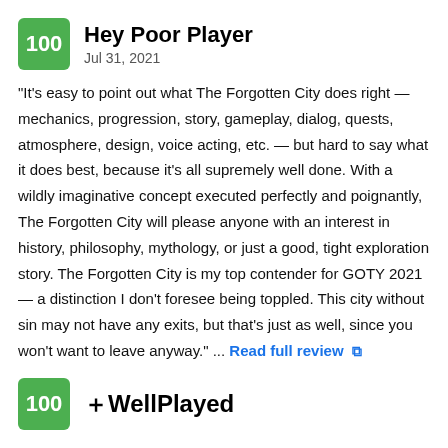Hey Poor Player
Jul 31, 2021
"It's easy to point out what The Forgotten City does right — mechanics, progression, story, gameplay, dialog, quests, atmosphere, design, voice acting, etc. — but hard to say what it does best, because it's all supremely well done. With a wildly imaginative concept executed perfectly and poignantly, The Forgotten City will please anyone with an interest in history, philosophy, mythology, or just a good, tight exploration story. The Forgotten City is my top contender for GOTY 2021 — a distinction I don't foresee being toppled. This city without sin may not have any exits, but that's just as well, since you won't want to leave anyway." ... Read full review
WellPlayed